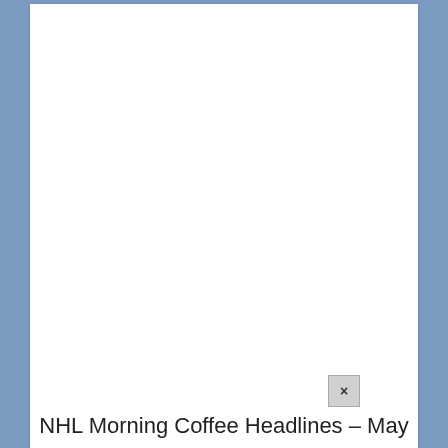[Figure (other): Close/dismiss button with an X symbol, grey square button in the lower right area of a white page area]
NHL Morning Coffee Headlines – May